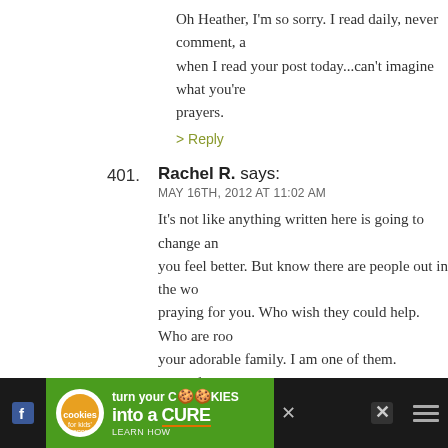Oh Heather, I'm so sorry. I read daily, never comment, a when I read your post today...can't imagine what you're prayers.
> Reply
401. Rachel R. says:
MAY 16TH, 2012 AT 11:02 AM
It's not like anything written here is going to change an you feel better. But know there are people out in the wo praying for you. Who wish they could help. Who are roo your adorable family. I am one of them.
Lots of love
> Reply
402. dina says:
MAY 16TH, 2012 AT 11:03 AM
First of all, so sorry for the loss. It's real and it hurts, I kn that helped me when I had a miscarriage is to learn how
[Figure (screenshot): Advertisement banner at bottom: 'cookies for kids cancer — turn your COOKIES into a CURE LEARN HOW' on dark/green background with cookie logo and social media icons]